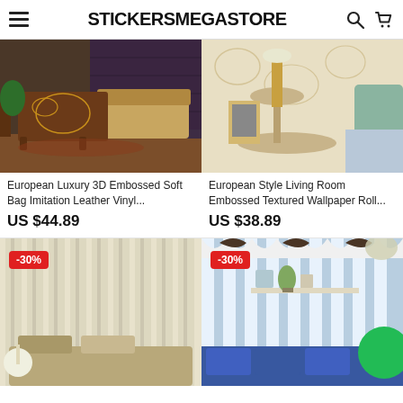STICKERSMEGASTORE
[Figure (photo): Ornate brown carved cabinet with sofa against dark textured wallpaper]
[Figure (photo): Gold lamp and framed photo on round table against beige floral wallpaper]
European Luxury 3D Embossed Soft Bag Imitation Leather Vinyl...
European Style Living Room Embossed Textured Wallpaper Roll...
US $44.89
US $38.89
[Figure (photo): Light cream/beige vertical striped wallpaper in bedroom, -30% badge]
[Figure (photo): Blue and white vertical striped wallpaper in living room, -30% badge]